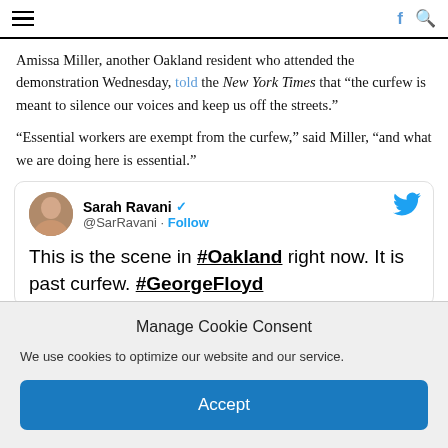Navigation bar with hamburger menu, Facebook icon, and search icon
Amissa Miller, another Oakland resident who attended the demonstration Wednesday, told the New York Times that “the curfew is meant to silence our voices and keep us off the streets.”
“Essential workers are exempt from the curfew,” said Miller, “and what we are doing here is essential.”
[Figure (screenshot): Embedded tweet from Sarah Ravani (@SarRavani) with verified badge and Follow button. Tweet text: 'This is the scene in #Oakland right now. It is past curfew. #GeorgeFloyd']
Manage Cookie Consent
We use cookies to optimize our website and our service.
Accept